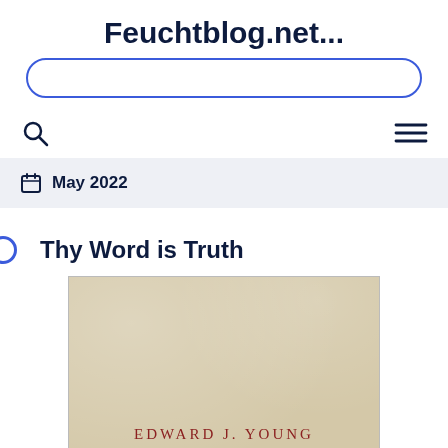Feuchtblog.net...
May 2022
Thy Word is Truth
[Figure (photo): Book cover of 'Thy Word is Truth' by Edward J. Young, showing the author's name in red serif letters, a red horizontal rule, and the book title in large red uppercase serif letters on an aged cream/beige paper background.]